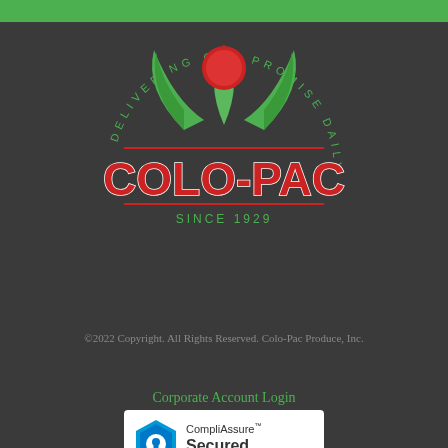[Figure (logo): Colo-Pac Produce Inc. logo with green leaves, red tomato/sun, circular text 'DELIVERING OUR PROMISE DAILY', bold red COLO-PAC text, and 'SINCE 1929' below]
©2022 Copyright. All Rights Reserved. Colo-Pac Produce, Inc.
Corporate Account Login
[Figure (logo): CompliAssure Secured - Click to Verify badge with blue hexagon shield icon]